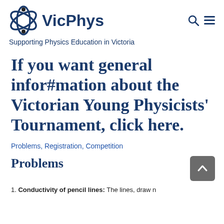VicPhys — Supporting Physics Education in Victoria
If you want general infor#mation about the Victorian Young Physicists' Tournament, click here.
Problems, Registration, Competition
Problems
1. Conductivity of pencil lines: The lines, draw n